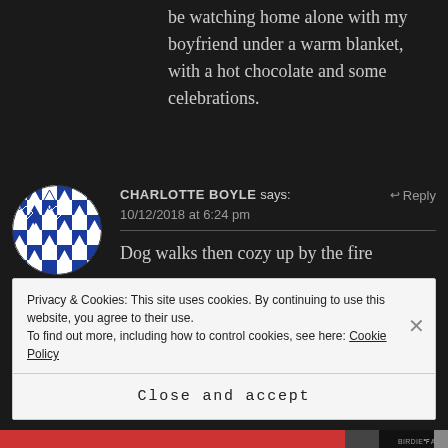be watching home alone with my boyfriend under a warm blanket, with a hot chocolate and some celebrations.
[Figure (illustration): Blue and white checkered circular avatar icon with diamond pattern]
CHARLOTTE BOYLE says:
10/12/2018 at 6:24 pm
Dog walks then cozy up by the fire
Privacy & Cookies: This site uses cookies. By continuing to use this website, you agree to their use.
To find out more, including how to control cookies, see here: Cookie Policy
Close and accept